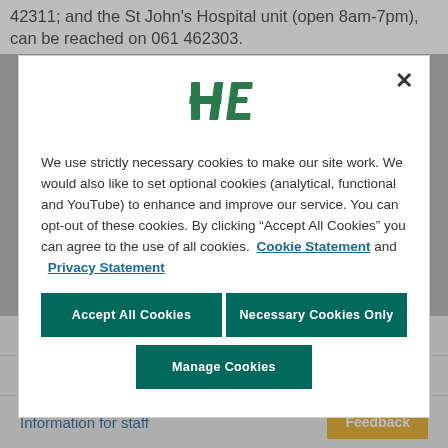42311; and the St John's Hospital unit (open 8am-7pm), can be reached on 061 462303.
[Figure (logo): HSE (Health Service Executive) logo — stylized green 'HE' letters]
We use strictly necessary cookies to make our site work. We would also like to set optional cookies (analytical, functional and YouTube) to enhance and improve our service. You can opt-out of these cookies. By clicking “Accept All Cookies” you can agree to the use of all cookies. Cookie Statement and Privacy Statement
Accept All Cookies
Necessary Cookies Only
Manage Cookies
UL Hospitals Group Governance
Careers in UL Hospitals Group
Information for staff
Feedback